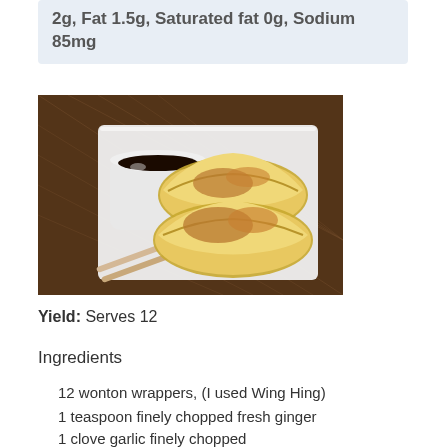2g, Fat 1.5g, Saturated fat 0g, Sodium 85mg
[Figure (photo): Pan-fried dumplings (potstickers) on a white square plate with chopsticks and a small white cup of dark dipping sauce, on a woven bamboo mat background]
Yield: Serves 12
Ingredients
12 wonton wrappers, (I used Wing Hing)
1 teaspoon finely chopped fresh ginger
1 clove garlic finely chopped